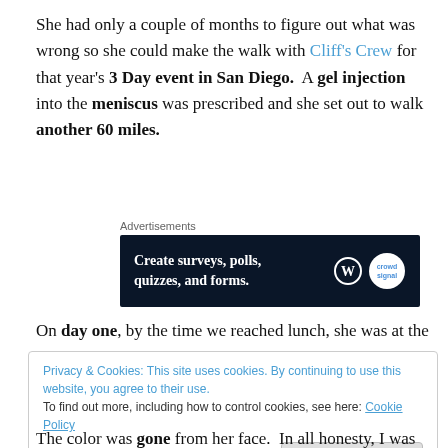She had only a couple of months to figure out what was wrong so she could make the walk with Cliff's Crew for that year's 3 Day event in San Diego.  A gel injection into the meniscus was prescribed and she set out to walk another 60 miles.
[Figure (other): Advertisement banner: 'Create surveys, polls, quizzes, and forms.' with WordPress and Crowdsignal logos on dark navy background.]
On day one, by the time we reached lunch, she was at the
Privacy & Cookies: This site uses cookies. By continuing to use this website, you agree to their use. To find out more, including how to control cookies, see here: Cookie Policy
The color was gone from her face.  In all honesty, I was